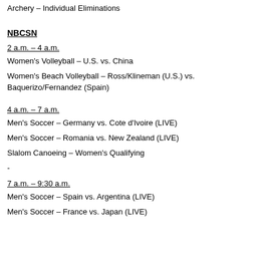Archery – Individual Eliminations
NBCSN
2 a.m. – 4 a.m.
Women's Volleyball – U.S. vs. China
Women's Beach Volleyball – Ross/Klineman (U.S.) vs. Baquerizo/Fernandez (Spain)
4 a.m. – 7 a.m.
Men's Soccer – Germany vs. Cote d'Ivoire (LIVE)
Men's Soccer – Romania vs. New Zealand (LIVE)
Slalom Canoeing – Women's Qualifying
-
7 a.m. – 9:30 a.m.
Men's Soccer – Spain vs. Argentina (LIVE)
Men's Soccer – France vs. Japan (LIVE)